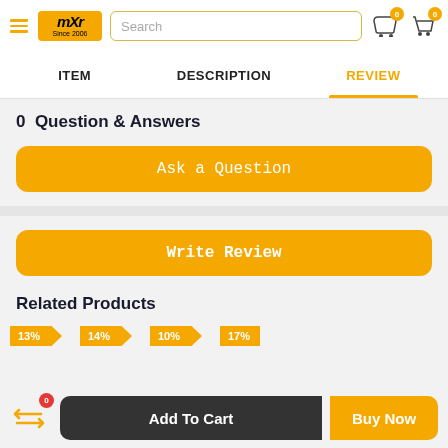mXr Since 2006 | Search | Cart 0 | Garage 0
ITEM | DESCRIPTION | REVIEW (active)
0 Question & Answers
Ask a Question
Write Review
Related Products
13% | 14% | 10% | 17%
Compare 0 | Add To Cart | Buy Now